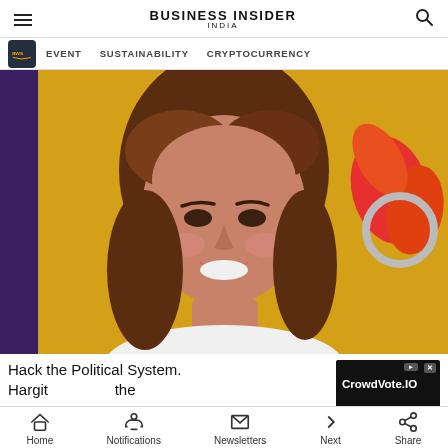BUSINESS INSIDER INDIA
[Figure (illustration): Navigation bar with AWS logo, EVENT, SUSTAINABILITY, CRYPTOCURRENCY menu items]
[Figure (photo): Woman with brown hair smiling in front of a yellow background with NBC peacock logo]
Hack the Political System. Hargit ... the
[Figure (other): CrowdVote.IO advertisement banner]
Home  Notifications  Newsletters  Next  Share